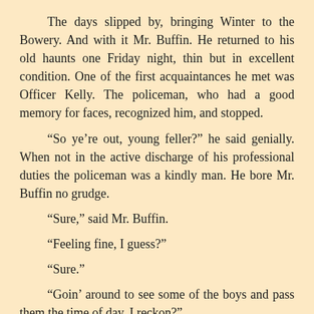The days slipped by, bringing Winter to the Bowery. And with it Mr. Buffin. He returned to his old haunts one Friday night, thin but in excellent condition. One of the first acquaintances he met was Officer Kelly. The policeman, who had a good memory for faces, recognized him, and stopped.
“So ye’re out, young feller?” he said genially. When not in the active discharge of his professional duties the policeman was a kindly man. He bore Mr. Buffin no grudge.
“Sure,” said Mr. Buffin.
“Feeling fine, I guess?”
“Sure.”
“Goin’ around to see some of the boys and pass them the time of day, I reckon?”
“Sure.”
“Well, you keep clear of that bunch down to Groome Street, young feller. They’re no good. And if you get mixed